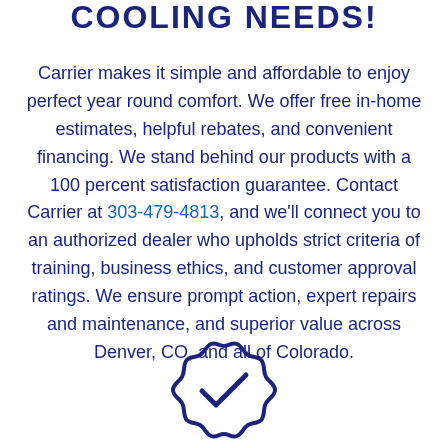COOLING NEEDS!
Carrier makes it simple and affordable to enjoy perfect year round comfort. We offer free in-home estimates, helpful rebates, and convenient financing. We stand behind our products with a 100 percent satisfaction guarantee. Contact Carrier at 303-479-4813, and we'll connect you to an authorized dealer who upholds strict criteria of training, business ethics, and customer approval ratings. We ensure prompt action, expert repairs and maintenance, and superior value across Denver, CO, and all of Colorado.
[Figure (illustration): A badge/seal icon with a checkmark inside, rendered in blue outline style.]